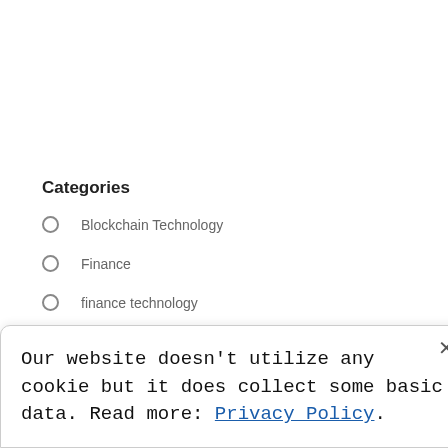Categories
Blockchain Technology
Finance
finance technology
Our website doesn't utilize any cookie but it does collect some basic data. Read more: Privacy Policy.